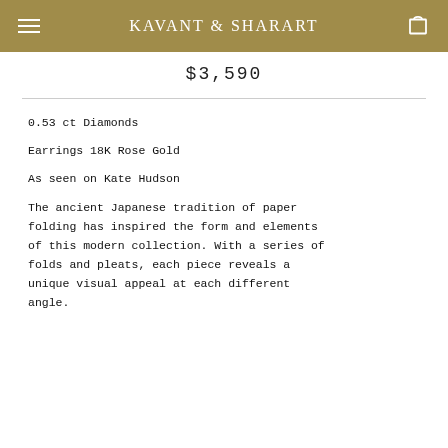KAVANT & SHARART
$3,590
0.53 ct Diamonds
Earrings 18K Rose Gold
As seen on Kate Hudson
The ancient Japanese tradition of paper folding has inspired the form and elements of this modern collection. With a series of folds and pleats, each piece reveals a unique visual appeal at each different angle.